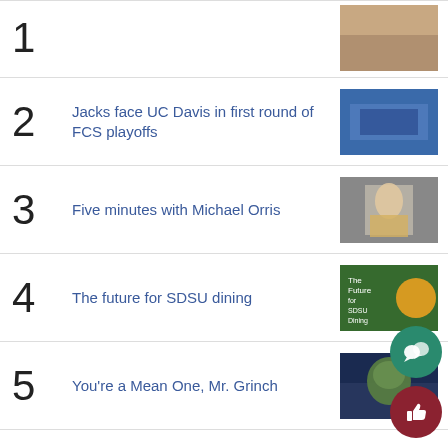2 Jacks face UC Davis in first round of FCS playoffs
3 Five minutes with Michael Orris
4 The future for SDSU dining
5 You're a Mean One, Mr. Grinch